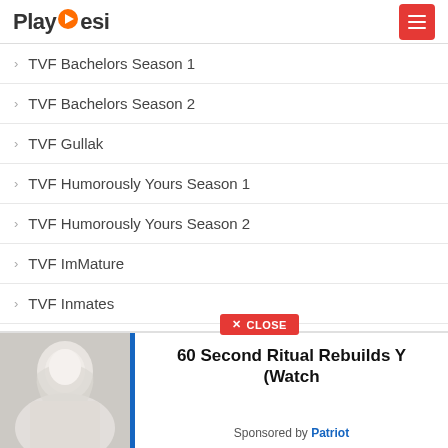PlayDesi
TVF Bachelors Season 1
TVF Bachelors Season 2
TVF Gullak
TVF Humorously Yours Season 1
TVF Humorously Yours Season 2
TVF ImMature
TVF Inmates
TVF Kota Factory
[Figure (screenshot): Advertisement overlay showing a woman with white hair, a blue vertical bar, and ad text '60 Second Ritual Rebuilds Y... (Watch...' sponsored by Patriot, with a red CLOSE button]